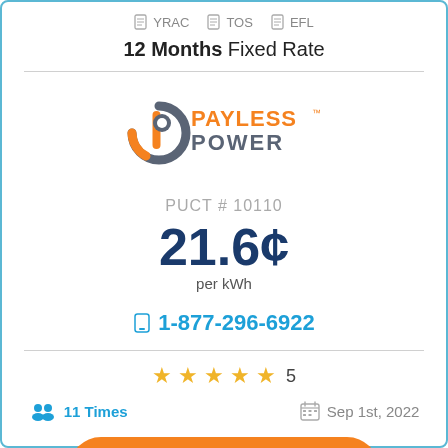YRAC  TOS  EFL
12 Months Fixed Rate
[Figure (logo): Payless Power logo with orange and gray circular icon and PAYLESS POWER text]
PUCT # 10110
21.6¢
per kWh
1-877-296-6922
★★★★★ 5
11 Times
Sep 1st, 2022
Order Online